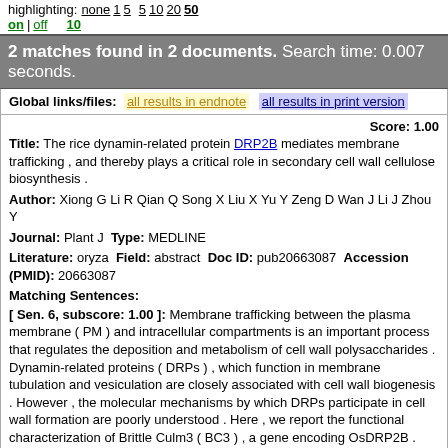highlighting: none 1 5   5 10 20 50
on | off   10
2 matches found in 2 documents. Search time: 0.007 seconds.
Global links/files: all results in endnote  all results in print version
Score: 1.00
Title: The rice dynamin-related protein DRP2B mediates membrane trafficking , and thereby plays a critical role in secondary cell wall cellulose biosynthesis .
Author: Xiong G Li R Qian Q Song X Liu X Yu Y Zeng D Wan J Li J Zhou Y
Journal: Plant J Type: MEDLINE
Literature: oryza Field: abstract Doc ID: pub20663087 Accession (PMID): 20663087
Matching Sentences:
[ Sen. 6, subscore: 1.00 ]: Membrane trafficking between the plasma membrane ( PM ) and intracellular compartments is an important process that regulates the deposition and metabolism of cell wall polysaccharides . Dynamin-related proteins ( DRPs ) , which function in membrane tubulation and vesiculation are closely associated with cell wall biogenesis . However , the molecular mechanisms by which DRPs participate in cell wall formation are poorly understood . Here , we report the functional characterization of Brittle Culm3 ( BC3 ) , a gene encoding OsDRP2B . Consistent with the expression of BC3 in mechanical it issues , the bc3 mutation reduces mechanical strength , which results from decreased cellulose content and altered secondary wall structure .